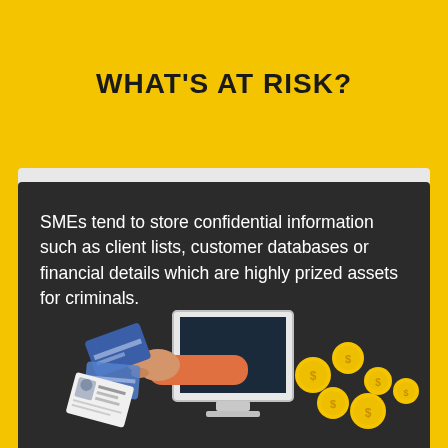WHAT'S AT RISK?
SMEs tend to store confidential information such as client lists, customer databases or financial details which are highly prized assets for criminals.
[Figure (illustration): Illustration of a hand reaching through a computer monitor stealing credit cards and ID cards, with gold coins flying out to the right, representing data theft and financial loss.]